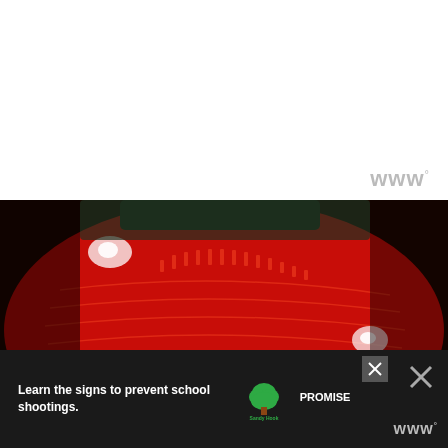[Figure (photo): Close-up macro photo of a red athletic shoe upper showing detailed knit/mesh texture with stitched pattern lines and reflective highlights, shot against a dark background. The SOLEREVIEW.COM watermark is overlaid on the image.]
SOLEREVIEW.COM
[Figure (photo): Sandy Hook Promise advertisement banner at the bottom: 'Learn the signs to prevent school shootings.' with Sandy Hook Promise tree logo, close button (X), and a logo watermark on the right.]
Learn the signs to prevent school shootings.